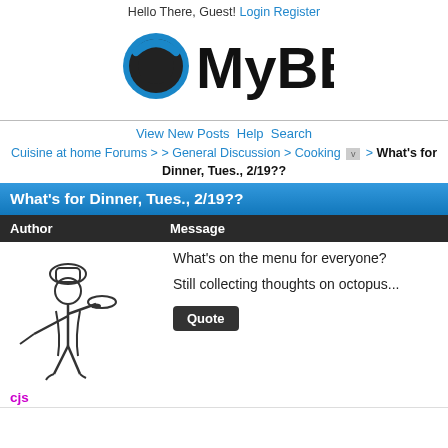Hello There, Guest! Login Register
[Figure (logo): MyBB logo with speech bubble icon and MyBB text]
View New Posts Help Search
Cuisine at home Forums > > General Discussion > Cooking > What's for Dinner, Tues., 2/19??
What's for Dinner, Tues., 2/19??
| Author | Message |
| --- | --- |
| cjs | What's on the menu for everyone?

Still collecting thoughts on octopus... |
[Figure (illustration): Chef cartoon figure carrying a frying pan]
cjs
What's on the menu for everyone?

Still collecting thoughts on octopus...